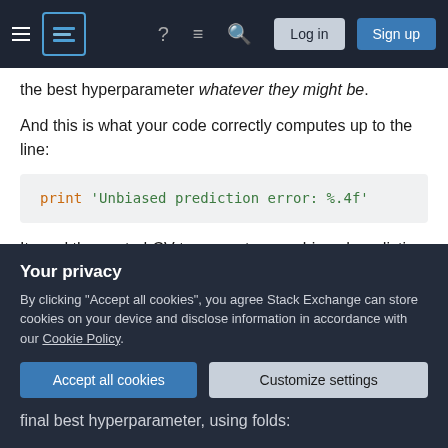Stack Exchange navigation bar with hamburger menu, logo, help icon, chat icon, search icon, Log in button, Sign up button
the best hyperparameter whatever they might be.
And this is what your code correctly computes up to the line:
print 'Unbiased prediction error: %.4f'
It used the nested-CV to compute an unbiased prediction of the classifier. But notice that each pass of the outer loop may generate a different best hyperparameter, as you knew when you wrote the
Your privacy
By clicking "Accept all cookies", you agree Stack Exchange can store cookies on your device and disclose information in accordance with our Cookie Policy.
Accept all cookies    Customize settings
final best hyperparameter, using folds: